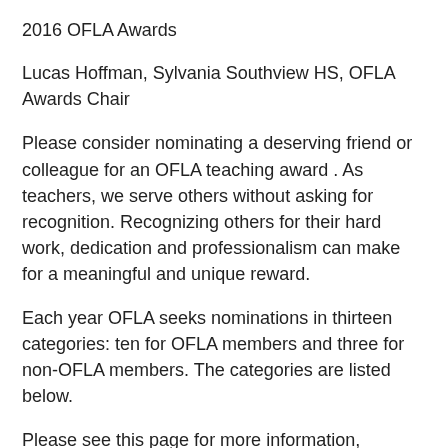2016 OFLA Awards
Lucas Hoffman, Sylvania Southview HS, OFLA Awards Chair
Please consider nominating a deserving friend or colleague for an OFLA teaching award . As teachers, we serve others without asking for recognition. Recognizing others for their hard work, dedication and professionalism can make for a meaningful and unique reward.
Each year OFLA seeks nominations in thirteen categories: ten for OFLA members and three for non-OFLA members. The categories are listed below.
Please see this page for more information, including complete descriptions of award categories, and a nomination form. Any questions should be directed to: